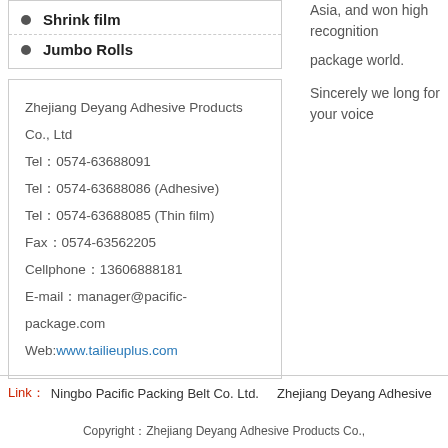Shrink film
Jumbo Rolls
Asia, and won high recognition... package world.
Sincerely we long for your voice...
Zhejiang Deyang Adhesive Products Co., Ltd
Tel：0574-63688091
Tel：0574-63688086 (Adhesive)
Tel：0574-63688085 (Thin film)
Fax：0574-63562205
Cellphone：13606888181
E-mail：manager@pacific-package.com
Web:www.tailieuplus.com
Link：  Ningbo Pacific Packing Belt Co. Ltd.    Zhejiang Deyang Adhesive
Copyright：Zhejiang Deyang Adhesive Products Co.,